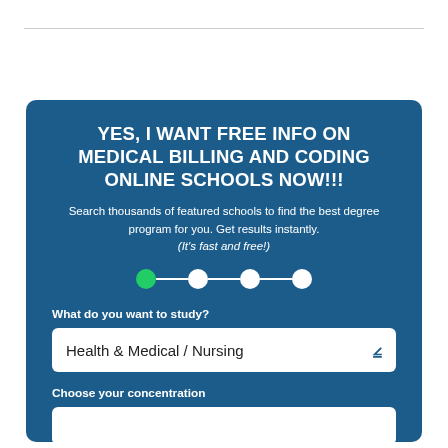YES, I WANT FREE INFO ON MEDICAL BILLING AND CODING ONLINE SCHOOLS NOW!!!
Search thousands of featured schools to find the best degree program for you. Get results instantly. (It's fast and free!)
[Figure (infographic): Step progress indicator with 4 circles connected by lines. First circle is green (active), remaining three are white.]
What do you want to study?
Health & Medical / Nursing
Choose your concentration